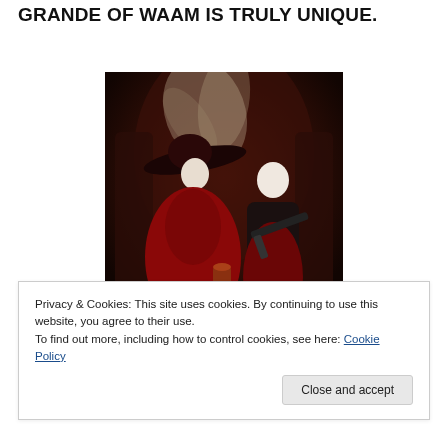GRANDE OF WAAM IS TRULY UNIQUE.
[Figure (illustration): Digital fantasy illustration of two figures in dark red costumes: a woman in a wide-brimmed hat and ornate red dress, and a man holding a shotgun, both posed dramatically against a dark brown arched background.]
Privacy & Cookies: This site uses cookies. By continuing to use this website, you agree to their use.
To find out more, including how to control cookies, see here: Cookie Policy
Close and accept